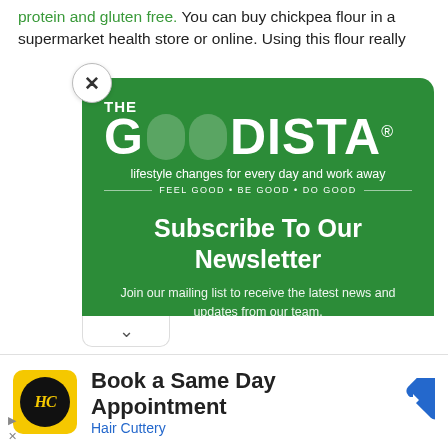protein and gluten free. You can buy chickpea flour in a supermarket health store or online. Using this flour really
[Figure (screenshot): Popup modal from The Goodista website with green background, showing 'THE GOODISTA' logo (with two circular O shapes), tagline 'lifestyle changes for every day and work away', FEEL GOOD • BE GOOD • DO GOOD, and newsletter subscribe call-to-action. Includes a close (X) button and a chevron (v) at the bottom.]
[Figure (infographic): Advertisement banner for Hair Cuttery with yellow icon showing HC initials in circle, text 'Book a Same Day Appointment' and 'Hair Cuttery' in blue, with a blue navigation arrow icon on the right.]